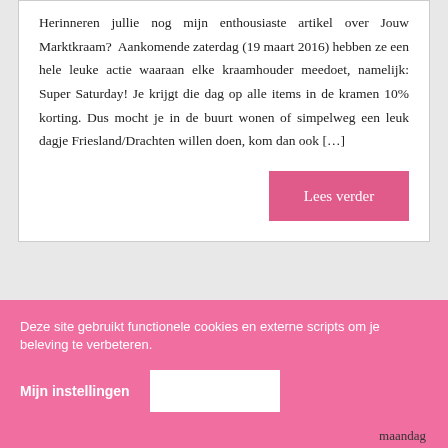Herinneren jullie nog mijn enthousiaste artikel over Jouw Marktkraam? Aankomende zaterdag (19 maart 2016) hebben ze een hele leuke actie waaraan elke kraamhouder meedoet, namelijk: Super Saturday! Je krijgt die dag op alle items in de kramen 10% korting. Dus mocht je in de buurt wonen of simpelweg een leuk dagje Friesland/Drachten willen doen, kom dan ook […]
Lees verder
Jouw Marktkraam | Mijn eerste ervaringen
Geplaatst op 29 september 2015 door Jessica in
Deze site gebruikt functionele cookies en externe scripts om je beleving te verbeteren.
Mijn instellingen
maandag